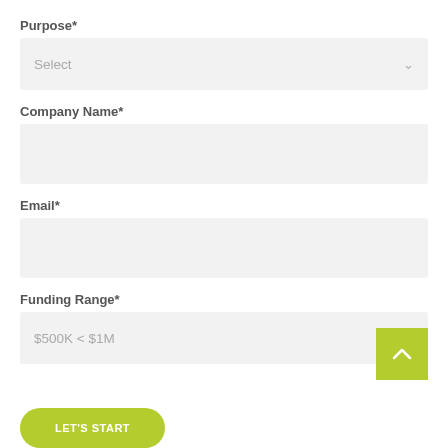Purpose*
Select
Company Name*
Email*
Funding Range*
$500K < $1M
LET'S START